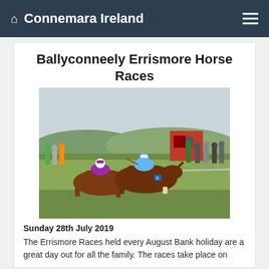Connemara Ireland
Ballyconneely Errismore Horse Races
[Figure (photo): Horse race with two jockeys on brown horses racing closely together on a grass track, spectators watching from the sidelines, a red tractor visible in the background, overcast sky]
Sunday 28th July 2019
The Errismore Races held every August Bank holiday are a great day out for all the family. The races take place on